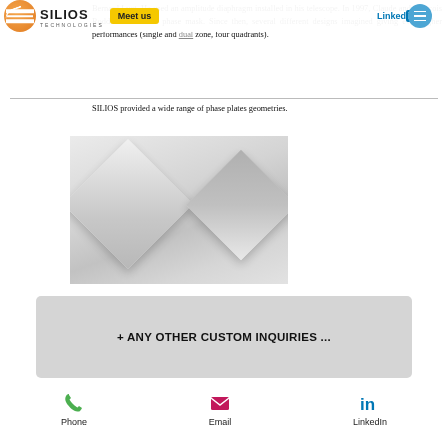SILIOS TECHNOLOGIES — Meet us | LinkedIn
Bernard Lyot. He used an amplitude diaphragm installed in his telescope. In 1997, Claude and Francois Roddier invent the phase mask. Since then, several different designs imagined giving ever higher performances (single and dual zone, four quadrants).
SILIOS provided a wide range of phase plates geometries.
[Figure (photo): Photograph of phase plate optical components — two diamond/rhombus-shaped glass optical elements on a light grey background]
+ ANY OTHER CUSTOM INQUIRIES ...
Phone   Email   LinkedIn